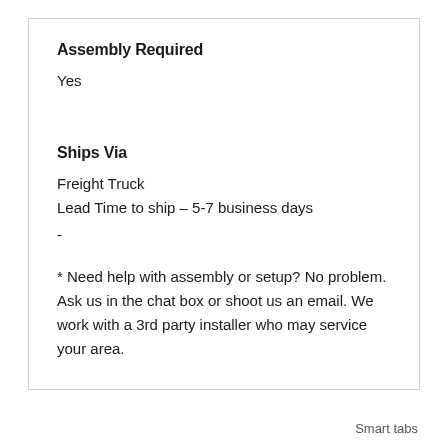Assembly Required
Yes
Ships Via
Freight Truck
Lead Time to ship – 5-7 business days
-
* Need help with assembly or setup? No problem. Ask us in the chat box or shoot us an email. We work with a 3rd party installer who may service your area.
Smart tabs